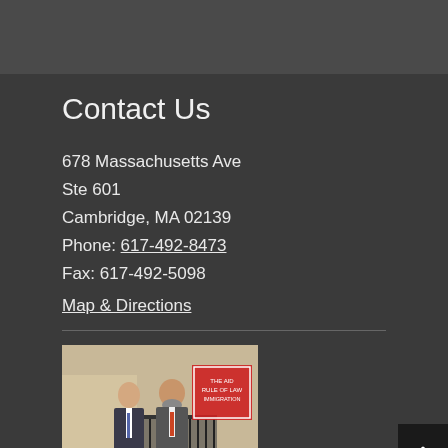Contact Us
678 Massachusetts Ave
Ste 601
Cambridge, MA 02139
Phone: 617-492-8473
Fax: 617-492-5098
Map & Directions
[Figure (photo): Two men standing outside in front of a building with an iron fence; a red sign is visible in the background.]